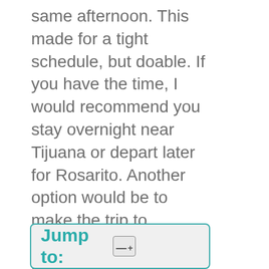same afternoon. This made for a tight schedule, but doable. If you have the time, I would recommend you stay overnight near Tijuana or depart later for Rosarito. Another option would be to make the trip to Rosarito early in the morning.
[Figure (other): A 'Jump to:' navigation box with teal border and teal bold text 'Jump to:' alongside a menu icon with lines and a plus symbol]